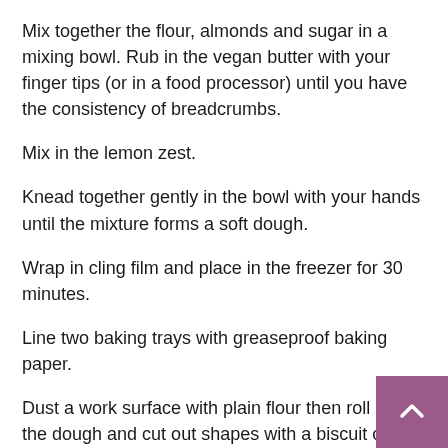Mix together the flour, almonds and sugar in a mixing bowl. Rub in the vegan butter with your finger tips (or in a food processor) until you have the consistency of breadcrumbs.
Mix in the lemon zest.
Knead together gently in the bowl with your hands until the mixture forms a soft dough.
Wrap in cling film and place in the freezer for 30 minutes.
Line two baking trays with greaseproof baking paper.
Dust a work surface with plain flour then roll out the dough and cut out shapes with a biscuit cutter. I used a small circular cutter.
Place on the prepared baking trays and put in the fridge